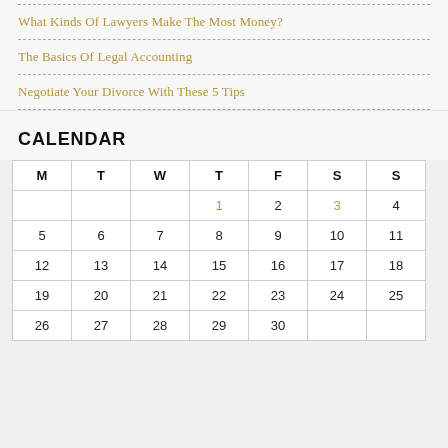What Kinds Of Lawyers Make The Most Money?
The Basics Of Legal Accounting
Negotiate Your Divorce With These 5 Tips
CALENDAR
| M | T | W | T | F | S | S |
| --- | --- | --- | --- | --- | --- | --- |
|  |  |  | 1 | 2 | 3 | 4 |
| 5 | 6 | 7 | 8 | 9 | 10 | 11 |
| 12 | 13 | 14 | 15 | 16 | 17 | 18 |
| 19 | 20 | 21 | 22 | 23 | 24 | 25 |
| 26 | 27 | 28 | 29 | 30 |  |  |